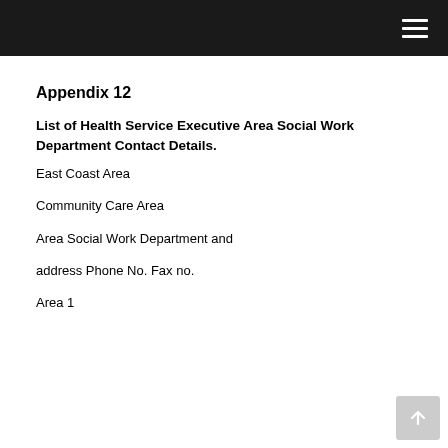Appendix 12
List of Health Service Executive Area Social Work Department Contact Details.
East Coast Area
Community Care Area
Area Social Work Department and
address Phone No. Fax no.
Area 1